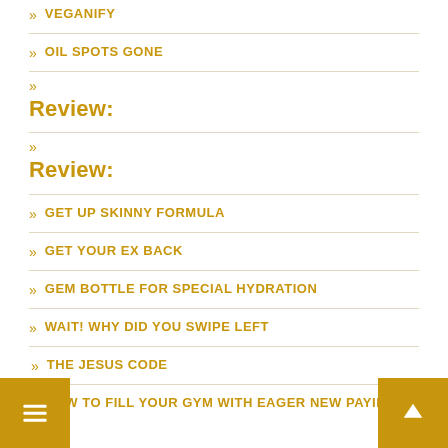» VEGANIFY
» OIL SPOTS GONE
» Review:
» Review:
» GET UP SKINNY FORMULA
» GET YOUR EX BACK
» GEM BOTTLE FOR SPECIAL HYDRATION
» WAIT! WHY DID YOU SWIPE LEFT
» THE JESUS CODE
» HOW TO FILL YOUR GYM WITH EAGER NEW PAYING